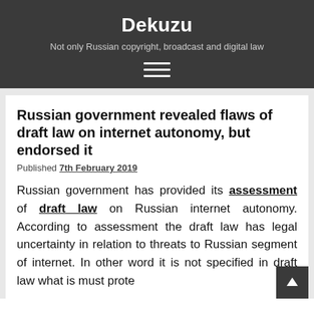Dekuzu
Not only Russian copyright, broadcast and digital law
Russian government revealed flaws of draft law on internet autonomy, but endorsed it
Published 7th February 2019
Russian government has provided its assessment of draft law on Russian internet autonomy. According to assessment the draft law has legal uncertainty in relation to threats to Russian segment of internet. In other word it is not specified in draft law what is must prote